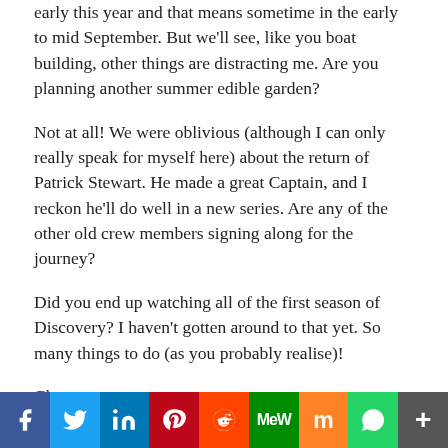early this year and that means sometime in the early to mid September. But we'll see, like you boat building, other things are distracting me. Are you planning another summer edible garden?
Not at all! We were oblivious (although I can only really speak for myself here) about the return of Patrick Stewart. He made a great Captain, and I reckon he'll do well in a new series. Are any of the other old crew members signing along for the journey?
Did you end up watching all of the first season of Discovery? I haven't gotten around to that yet. So many things to do (as you probably realise)!
Cheers
f  Twitter  in  P  Reddit  MW  Mix  WhatsApp  More